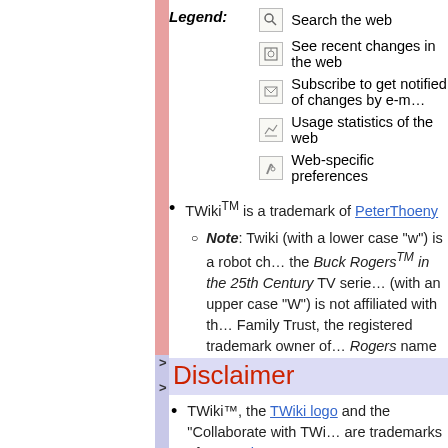Legend:
Search the web
See recent changes in the web
Subscribe to get notified of changes by e-mail
Usage statistics of the web
Web-specific preferences
TWiki™ is a trademark of PeterThoeny
Note: Twiki (with a lower case "w") is a robot character in the Buck Rogers™ in the 25th Century TV series. TWiki (with an upper case "W") is not affiliated with the Dille Family Trust, the registered trademark owner of the Buck Rogers name
Disclaimer
TWiki™, the TWiki logo and the "Collaborate with TWiki" are trademarks of Peter Thoeny
Note: Twiki (with a lower case "w") is a robot character in the Buck Rogers™ in the 25th Century TV series. TWiki (with upper case "W") is not affiliated with the Dille Family T...